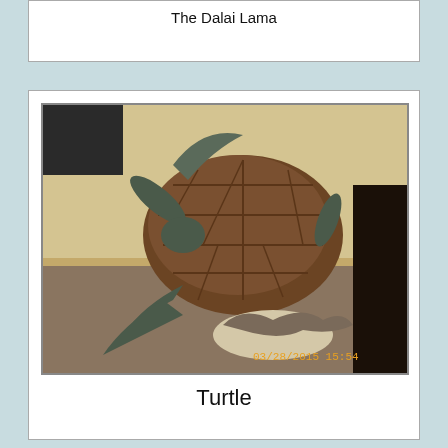The Dalai Lama
[Figure (photo): A bronze sculpture of a sea turtle with detailed shell and flippers, photographed indoors on carpet. Timestamp visible: 03/28/2015 15:54]
Turtle